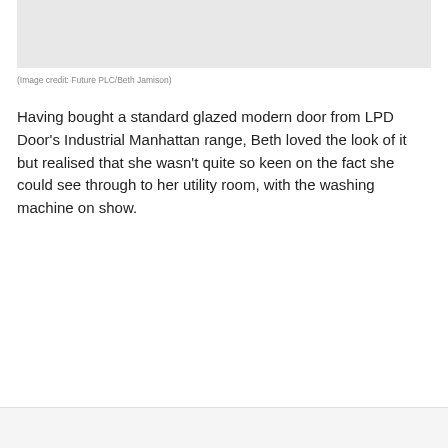[Figure (photo): Gray placeholder area representing a photo of a glazed modern door]
(Image credit: Future PLC/Beth Jamison)
Having bought a standard glazed modern door from LPD Door's Industrial Manhattan range, Beth loved the look of it but realised that she wasn't quite so keen on the fact she could see through to her utility room, with the washing machine on show.